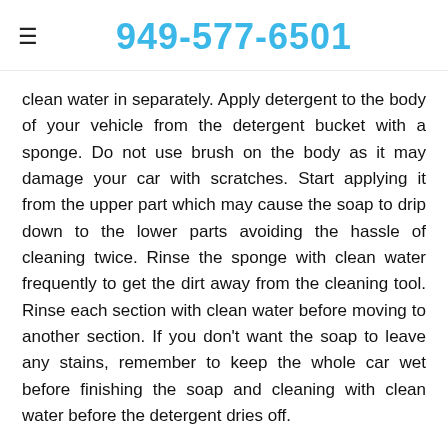949-577-6501
clean water in separately. Apply detergent to the body of your vehicle from the detergent bucket with a sponge. Do not use brush on the body as it may damage your car with scratches. Start applying it from the upper part which may cause the soap to drip down to the lower parts avoiding the hassle of cleaning twice. Rinse the sponge with clean water frequently to get the dirt away from the cleaning tool. Rinse each section with clean water before moving to another section. If you don't want the soap to leave any stains, remember to keep the whole car wet before finishing the soap and cleaning with clean water before the detergent dries off.
4. Rinse With Clean Water: Once you've finished cleaning it with soap, rinse every part of your car